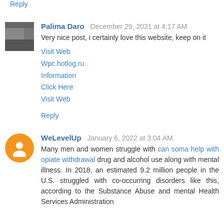Reply
Palima Daro  December 29, 2021 at 4:17 AM
Very nice post, i certainly love this website, keep on it
Visit Web
Wpc.hotlog.ru
Information
Click Here
Visit Web
Reply
WeLevelUp  January 6, 2022 at 3:04 AM
Many men and women struggle with can soma help with opiate withdrawal drug and alcohol use along with mental illness. In 2018, an estimated 9.2 million people in the U.S. struggled with co-occurring disorders like this, according to the Substance Abuse and mental Health Services Administration